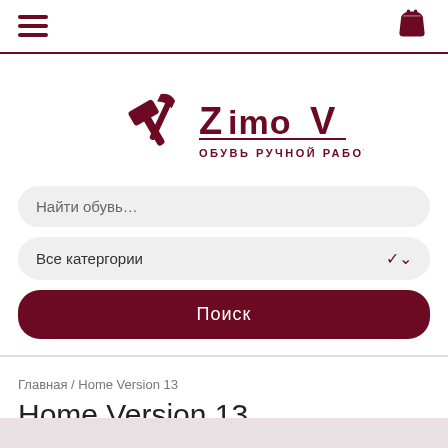ZimoV — hamburger menu and cart icon
[Figure (logo): ZimoV handmade shoes logo with crossed hammer and plier tools, text 'ZimoV' and 'ОБУВЬ РУЧНОЙ РАБОТЫ']
Найти обувь…
Все катергории
Поиск
Главная / Home Version 13
Home Version 13